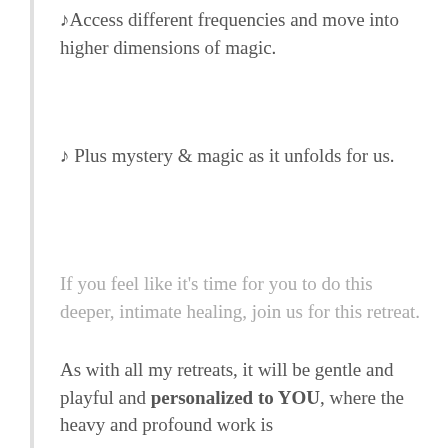✦Access different frequencies and move into higher dimensions of magic.
✦ Plus mystery & magic as it unfolds for us.
If you feel like it's time for you to do this deeper, intimate healing, join us for this retreat.
As with all my retreats, it will be gentle and playful and personalized to YOU, where the heavy and profound work is